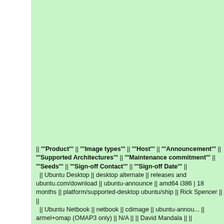|| '''Product''' || '''Image types''' || '''Host''' || '''Announcement''' || '''Supported Architectures''' || '''Maintenance commitment''' || '''Seeds''' || '''Sign-off Contact''' || '''Sign-off Date''' ||
  || Ubuntu Desktop || desktop alternate || releases and ubuntu.com/download || ubuntu-announce || amd64 i386 | 18 months || platform/supported-desktop ubuntu/ship || Rick Spencer || ||
  || Ubuntu Netbook || netbook || cdimage || ubuntu-announce || armel+omap (OMAP3 only) || N/A || || David Mandala || ||
  || Ubuntu Netbook || netbook || releases and ubuntu.com/download || ubuntu-announce || i386 || 18 mo